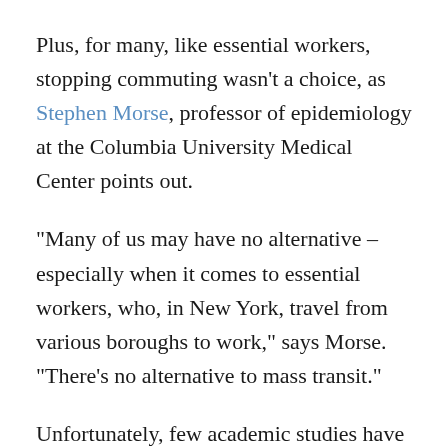Plus, for many, like essential workers, stopping commuting wasn't a choice, as Stephen Morse, professor of epidemiology at the Columbia University Medical Center points out.
"Many of us may have no alternative – especially when it comes to essential workers, who, in New York, travel from various boroughs to work," says Morse. "There's no alternative to mass transit."
Unfortunately, few academic studies have systematically looked at the risk of mass transit — although case studies from public health authorities in Paris, Austria and Tokyo have been unable to tie any group of outbreaks to rail lines or city public transportation.